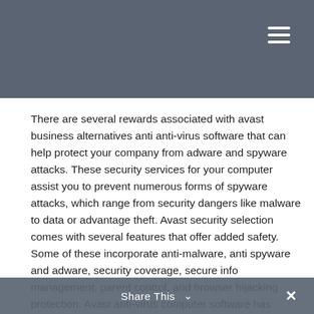There are several rewards associated with avast business alternatives anti anti-virus software that can help protect your company from adware and spyware attacks. These security services for your computer assist you to prevent numerous forms of spyware attacks, which range from security dangers like malware to data or advantage theft. Avast security selection comes with several features that offer added safety. Some of these incorporate anti-malware, anti spyware and adware, security coverage, secure info management, parent control, and browser hijacking protection. Avast anti-virus computer software has received wonderful reviews from both consumers and market professionals. Actually some of the largest rated courses are Avast anti computer, AVG antivirus security software, and Norton anti strain.
Share This ✓ ×